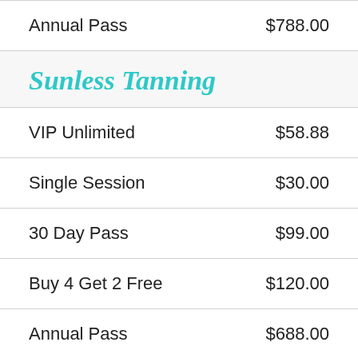Annual Pass    $788.00
Sunless Tanning
VIP Unlimited    $58.88
Single Session    $30.00
30 Day Pass    $99.00
Buy 4 Get 2 Free    $120.00
Annual Pass    $688.00
South Beach Tanning